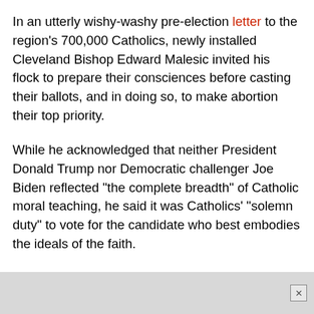In an utterly wishy-washy pre-election letter to the region's 700,000 Catholics, newly installed Cleveland Bishop Edward Malesic invited his flock to prepare their consciences before casting their ballots, and in doing so, to make abortion their top priority.
While he acknowledged that neither President Donald Trump nor Democratic challenger Joe Biden reflected "the complete breadth" of Catholic moral teaching, he said it was Catholics' "solemn duty" to vote for the candidate who best embodies the ideals of the faith.
Malesic might have made a splash by taking this preface to its logical conclusion and stating the obvious: that President Trump is a moral abomination; that he is surely one of the six or eight most repellant humans alive; that apart from his personal heinousness, he has presided over policies that